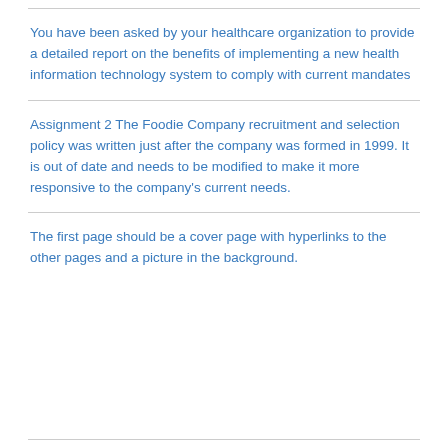You have been asked by your healthcare organization to provide a detailed report on the benefits of implementing a new health information technology system to comply with current mandates
Assignment 2 The Foodie Company recruitment and selection policy was written just after the company was formed in 1999. It is out of date and needs to be modified to make it more responsive to the company's current needs.
The first page should be a cover page with hyperlinks to the other pages and a picture in the background.